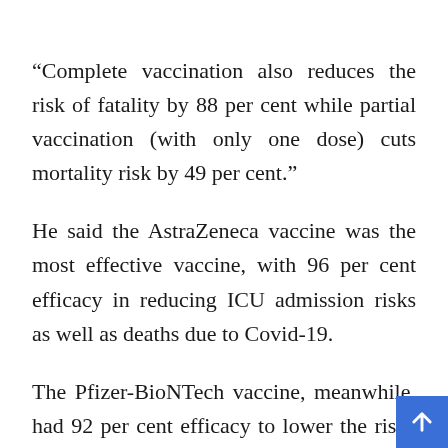“Complete vaccination also reduces the risk of fatality by 88 per cent while partial vaccination (with only one dose) cuts mortality risk by 49 per cent.”
He said the AstraZeneca vaccine was the most effective vaccine, with 96 per cent efficacy in reducing ICU admission risks as well as deaths due to Covid-19.
The Pfizer-BioNTech vaccine, meanwhile, had 92 per cent efficacy to lower the risks of ICU admission and 93 per cent efficacy to lower chances of death du...